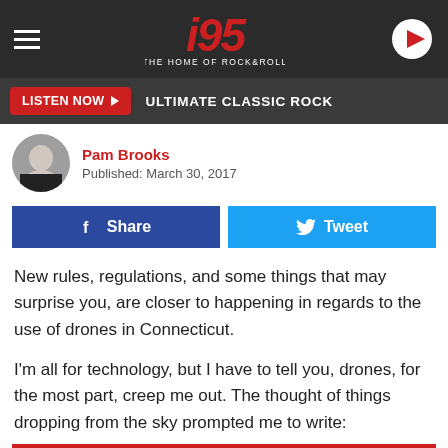i95 – The Home of Rock & Roll
LISTEN NOW  ULTIMATE CLASSIC ROCK
Pam Brooks
Published: March 30, 2017
Share  Tweet
New rules, regulations, and some things that may surprise you, are closer to happening in regards to the use of drones in Connecticut.
I'm all for technology, but I have to tell you, drones, for the most part, creep me out. The thought of things dropping from the sky prompted me to write:
HOW WOULD YOU LIKE YOUR BURRITOS DELIVERED BY A DRONE